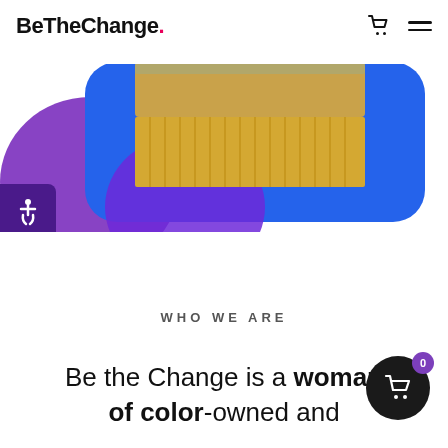BeTheChange. [cart icon] [menu icon]
[Figure (photo): Partial view of a product (brush with wooden handle and golden bristles) on a blue and purple rounded background, with a small accessibility icon button on the left]
WHO WE ARE
Be the Change is a woman of color-owned and